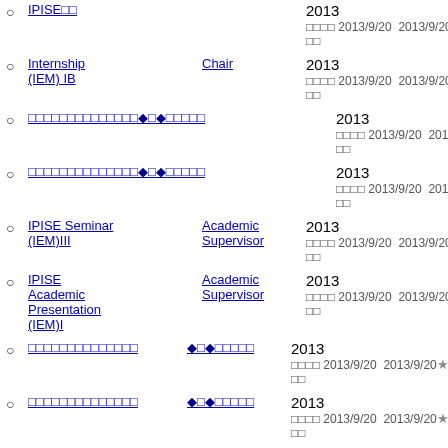IPISE□ — 2013 □□□□ 2013/9/20 2013/9/20 ★★★★★□□
Internship (IEM) IB — Chair — 2013 □□□□ 2013/9/20 2013/9/20 ★★★★★□□
□□□□□□□□□□□□□□♦□♦□□□□□ — 2013 □□□□ 2013/9/20 2013/9/20 ★★★★★□□
□□□□□□□□□□□□□□♦□♦□□□□□ — 2013 □□□□ 2013/9/20 2013/9/20 ★★★★★□□
IPISE Seminar (IEM)III — Academic Supervisor — 2013 □□□□ 2013/9/20 2013/9/20 ★★★★★□□
IPISE Academic Presentation (IEM)I — Academic Supervisor — 2013 □□□□ 2013/9/20 2013/9/20 ★★★★★□□
□□□□□□□□□□□□□□ □♦□□□□□ — 2013 □□□□ 2013/9/20 2013/9/20 ★★★★★□□
□□□□□□□□□□□□□□ □♦□□□□□ — 2013 □□□□ 2013/9/20 2013/9/20 ★★★★★□□
□□□□□□□□□□□□□□♦□♦□□□□□ — 2013 □□□□ 2013/9/20 2013/9/20 ★★★★★□□
IPISE...